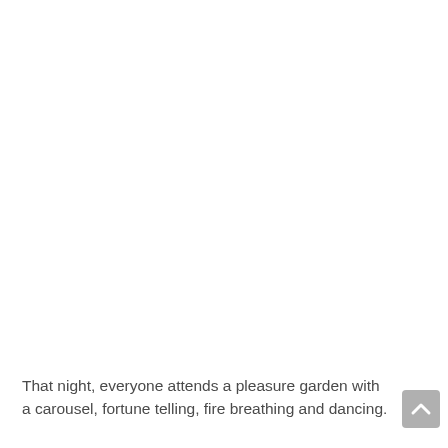That night, everyone attends a pleasure garden with a carousel, fortune telling, fire breathing and dancing.